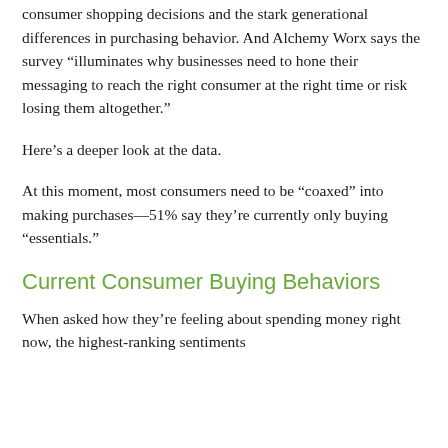consumer shopping decisions and the stark generational differences in purchasing behavior. And Alchemy Worx says the survey “illuminates why businesses need to hone their messaging to reach the right consumer at the right time or risk losing them altogether."
Here’s a deeper look at the data.
At this moment, most consumers need to be “coaxed” into making purchases—51% say they’re currently only buying “essentials.”
Current Consumer Buying Behaviors
When asked how they’re feeling about spending money right now, the highest-ranking sentiments